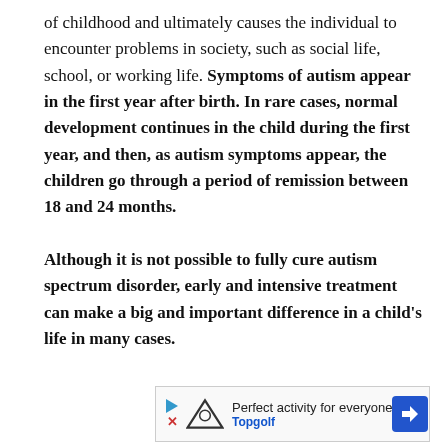of childhood and ultimately causes the individual to encounter problems in society, such as social life, school, or working life. Symptoms of autism appear in the first year after birth. In rare cases, normal development continues in the child during the first year, and then, as autism symptoms appear, the children go through a period of remission between 18 and 24 months.

Although it is not possible to fully cure autism spectrum disorder, early and intensive treatment can make a big and important difference in a child's life in many cases.
[Figure (other): Advertisement banner for Topgolf: 'Perfect activity for everyone' with Topgolf logo and navigation icon]